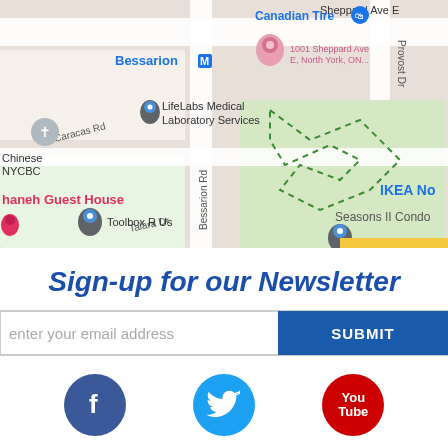[Figure (map): Google Maps screenshot showing Bessarion area, North York, Ontario. Visible labels include: Sheppard Ave E, Canadian Tire, 1001 Sheppard Ave E North York ON, Bessarion (metro station), LifeLabs Medical Laboratory Services, Chinese NYCBC, Bessarion Rd, Caracas Rd, IKEA No, haneh Guest House, Toolbox R Us, Talara Dr, Seasons II Condo]
Sign-up for our Newsletter
enter your email address
SUBMIT
[Figure (illustration): Social media icons row: Facebook (blue circle with f), Twitter (light blue circle with bird), YouTube (red circle with You/Tube text)]